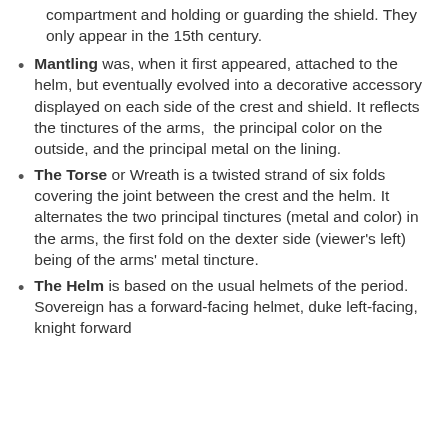compartment and holding or guarding the shield. They only appear in the 15th century.
Mantling was, when it first appeared, attached to the helm, but eventually evolved into a decorative accessory displayed on each side of the crest and shield. It reflects the tinctures of the arms,  the principal color on the outside, and the principal metal on the lining.
The Torse or Wreath is a twisted strand of six folds covering the joint between the crest and the helm. It alternates the two principal tinctures (metal and color) in the arms, the first fold on the dexter side (viewer's left) being of the arms' metal tincture.
The Helm is based on the usual helmets of the period. Sovereign has a forward-facing helmet, duke left-facing, knight forward...